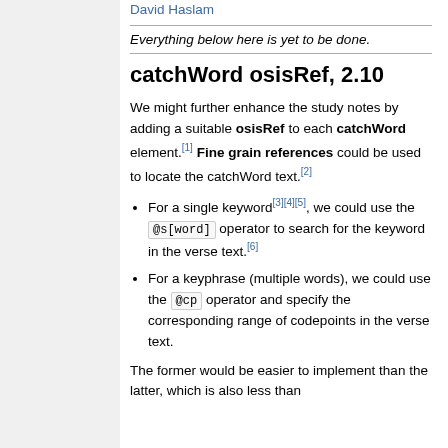David Haslam
Everything below here is yet to be done.
catchWord osisRef, 2.10
We might further enhance the study notes by adding a suitable osisRef to each catchWord element.[1] Fine grain references could be used to locate the catchWord text.[2]
For a single keyword[3][4][5], we could use the @s[word] operator to search for the keyword in the verse text.[6]
For a keyphrase (multiple words), we could use the @cp operator and specify the corresponding range of codepoints in the verse text.
The former would be easier to implement than the latter, which is also less than